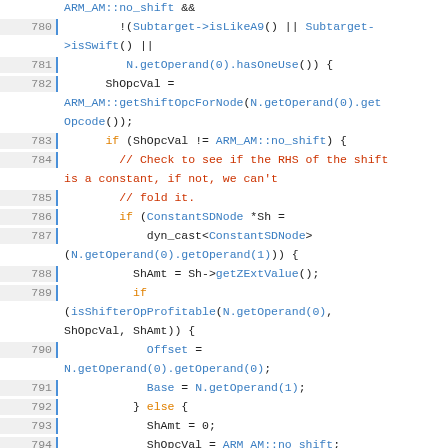[Figure (screenshot): Source code snippet in C++ showing ARM instruction selection logic, lines 780-804, with syntax highlighting: line numbers in grey on blue-bordered left gutter, keywords in orange, identifiers in blue, comments in red.]